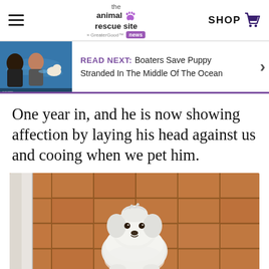the animal rescue site • GreaterGood NEWS | SHOP
[Figure (screenshot): Read Next banner with thumbnail image of people and a dog swimming in ocean water. Text: READ NEXT: Boaters Save Puppy Stranded In The Middle Of The Ocean]
One year in, and he is now showing affection by laying his head against us and cooing when we pet him.
[Figure (photo): A small fluffy white dog sitting on terracotta tile floor, looking up at the camera. A white door is partially visible on the left.]